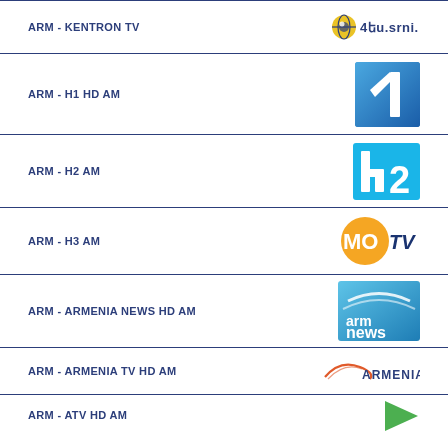ARM - KENTRON TV
ARM - H1 HD AM
ARM - H2 AM
ARM - H3 AM
ARM - ARMENIA NEWS HD AM
ARM - ARMENIA TV HD AM
ARM - ATV HD AM